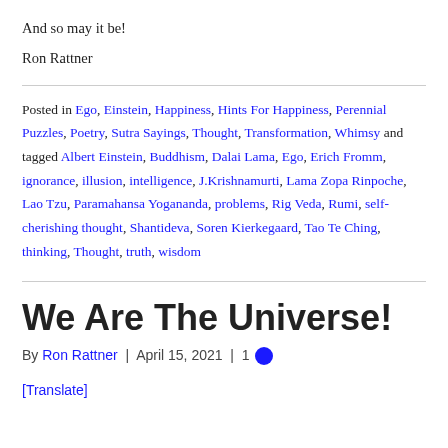And so may it be!
Ron Rattner
Posted in Ego, Einstein, Happiness, Hints For Happiness, Perennial Puzzles, Poetry, Sutra Sayings, Thought, Transformation, Whimsy and tagged Albert Einstein, Buddhism, Dalai Lama, Ego, Erich Fromm, ignorance, illusion, intelligence, J.Krishnamurti, Lama Zopa Rinpoche, Lao Tzu, Paramahansa Yogananda, problems, Rig Veda, Rumi, self-cherishing thought, Shantideva, Soren Kierkegaard, Tao Te Ching, thinking, Thought, truth, wisdom
We Are The Universe!
By Ron Rattner | April 15, 2021 | 1
[Translate]